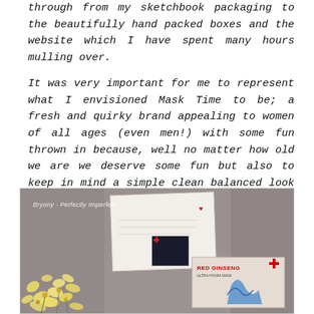through from my sketchbook packaging to the beautifully hand packed boxes and the website which I have spent many hours mulling over.

It was very important for me to represent what I envisioned Mask Time to be; a fresh and quirky brand appealing to women of all ages (even men!) with some fun thrown in because, well no matter how old we are we deserve some fun but also to keep in mind a simple clean balanced look to reflect what skincare should be."
[Figure (photo): A photo showing skincare product packaging (Mask Time boxes and cards) arranged on a grey textured surface alongside small white decorative flowers/popcorn. A watermark reads 'Bryony - Perfectly Imperfect'. One box is labeled 'RED GINSENG' in red text.]